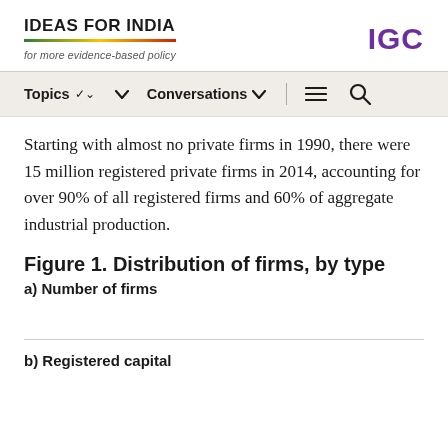IDEAS FOR INDIA — for more evidence-based policy | IGC
Topics  Conversations
Starting with almost no private firms in 1990, there were 15 million registered private firms in 2014, accounting for over 90% of all registered firms and 60% of aggregate industrial production.
Figure 1. Distribution of firms, by type
a) Number of firms
b) Registered capital